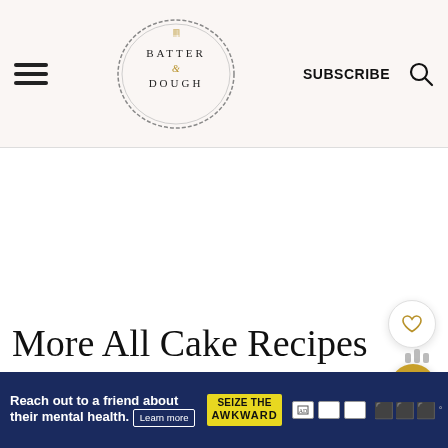Batter & Dough — SUBSCRIBE
[Figure (logo): Batter & Dough logo: oval hand-drawn circle border with text BATTER & DOUGH and a small fork graphic]
More All Cake Recipes
[Figure (infographic): Advertisement banner: 'Reach out to a friend about their mental health. Learn more' with SEIZE THE AWKWARD yellow badge and agency icons]